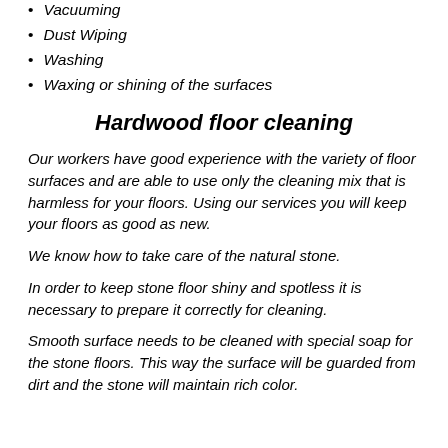Vacuuming
Dust Wiping
Washing
Waxing or shining of the surfaces
Hardwood floor cleaning
Our workers have good experience with the variety of floor surfaces and are able to use only the cleaning mix that is harmless for your floors. Using our services you will keep your floors as good as new.
We know how to take care of the natural stone.
In order to keep stone floor shiny and spotless it is necessary to prepare it correctly for cleaning.
Smooth surface needs to be cleaned with special soap for the stone floors. This way the surface will be guarded from dirt and the stone will maintain rich color.